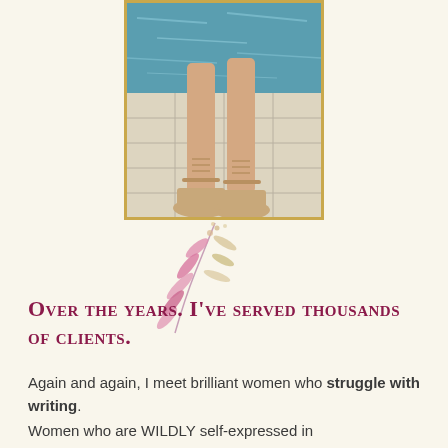[Figure (photo): Photo of a woman's legs in wedge sandals standing on a tiled pool deck with water visible in the background, framed with a gold border]
[Figure (illustration): Decorative floral/botanical illustration with pink and beige leaf branches]
Over the years. I've served thousands of clients.
Again and again, I meet brilliant women who struggle with writing.
Women who are WILDLY self-expressed in